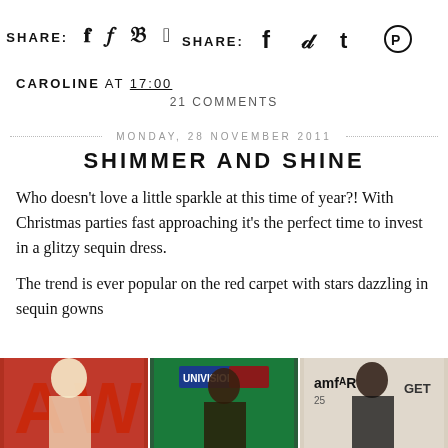SHARE: f t ® (social share bar)
CAROLINE AT 17:00
21 COMMENTS
MONDAY, 28 NOVEMBER 2011
SHIMMER AND SHINE
Who doesn't love a little sparkle at this time of year?! With Christmas parties fast approaching it's the perfect time to invest in a glitzy sequin dress.
The trend is ever popular on the red carpet with stars dazzling in sequin gowns
[Figure (photo): Three photographs of women in sequin dresses at red carpet events, partially visible at bottom of page]